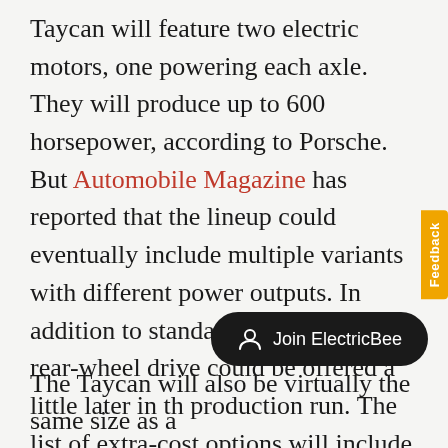Taycan will feature two electric motors, one powering each axle. They will produce up to 600 horsepower, according to Porsche. But Automobile Magazine has reported that the lineup could eventually include multiple variants with different power outputs. In addition to standard all-wheel drive, rear-wheel drive could be offered a little later in the production run. The list of extra-cost options will include a limited-slip rear differential. Anything is possible at this point—except an internal combustion eng...
The Taycan will also be virtually the same size as a...